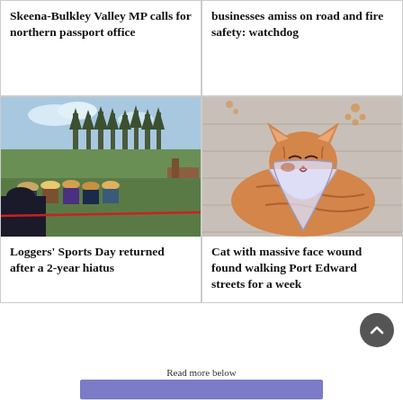Skeena-Bulkley Valley MP calls for northern passport office
businesses amiss on road and fire safety: watchdog
[Figure (photo): Outdoor logging sports event with crowd watching, trees in background, green field with equipment]
Loggers’ Sports Day returned after a 2-year hiatus
[Figure (photo): Orange tabby cat wearing a medical cone collar, lying on a grey knit blanket, with a face wound]
Cat with massive face wound found walking Port Edward streets for a week
Read more below